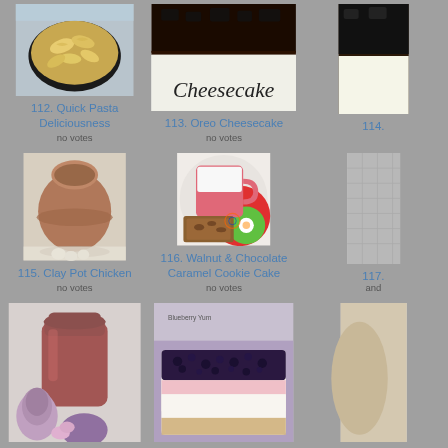[Figure (photo): Bowl of pasta (bowtie/farfalle) in a dark bowl]
112. Quick Pasta Deliciousness
no votes
[Figure (photo): Oreo Cheesecake with text overlay]
113. Oreo Cheesecake
no votes
[Figure (photo): Partial image cut off on right side]
114.
[Figure (photo): Clay pot with garlic cloves on white surface]
115. Clay Pot Chicken
no votes
[Figure (photo): Pink mug with milk and walnut chocolate caramel cookie cake on floral placemat]
116. Walnut & Chocolate Caramel Cookie Cake
no votes
[Figure (photo): Partial image cut off on right side, item 117]
117.
and
[Figure (photo): Red/brown jar with purple artichoke and yarn/flower decoration]
[Figure (photo): Blueberry layered dessert bar with cream cheese filling on purple surface]